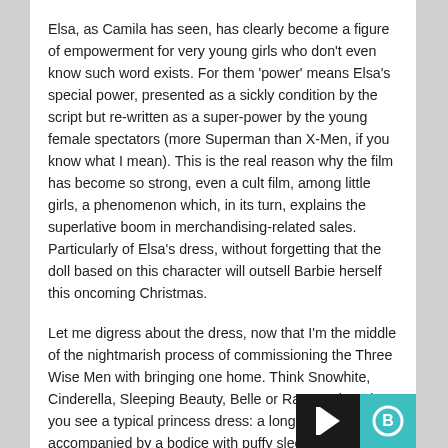Elsa, as Camila has seen, has clearly become a figure of empowerment for very young girls who don't even know such word exists. For them 'power' means Elsa's special power, presented as a sickly condition by the script but re-written as a super-power by the young female spectators (more Superman than X-Men, if you know what I mean). This is the real reason why the film has become so strong, even a cult film, among little girls, a phenomenon which, in its turn, explains the superlative boom in merchandising-related sales. Particularly of Elsa's dress, without forgetting that the doll based on this character will outsell Barbie herself this oncoming Christmas.
Let me digress about the dress, now that I'm the middle of the nightmarish process of commissioning the Three Wise Men with bringing one home. Think Snowhite, Cinderella, Sleeping Beauty, Belle or Rapunzel, and you see a typical princess dress: a long, flouncy skirt accompanied by a bodice with puffy sleeves, ribbons… right? Now, picture Elsa (or check Google) and see what she's wearing: a tight-fitting sequined gown with a long cut up her d...